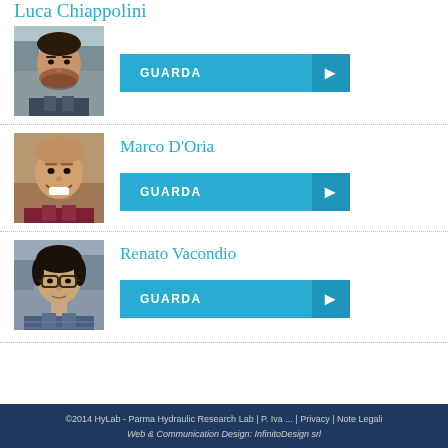Luca Chiappolini
[Figure (photo): Photo of Luca Chiappolini, a young man outdoors]
GUARDA ▶
Marco D'Oria
[Figure (photo): Photo of Marco D'Oria, smiling man outdoors]
GUARDA ▶
Renato Vacondio
[Figure (photo): Photo of Renato Vacondio, man with glasses outdoors]
GUARDA ▶
©2014 HyLab - Parma Hydraulic Research Lab | P. Iva ... | Privacy | Note Legali
Web & Communication Design: InfinitoDesign srl